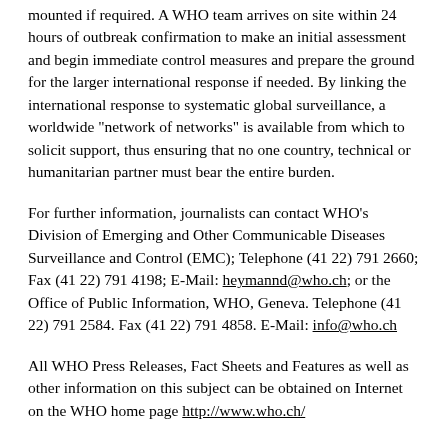mounted if required. A WHO team arrives on site within 24 hours of outbreak confirmation to make an initial assessment and begin immediate control measures and prepare the ground for the larger international response if needed. By linking the international response to systematic global surveillance, a worldwide "network of networks" is available from which to solicit support, thus ensuring that no one country, technical or humanitarian partner must bear the entire burden.
For further information, journalists can contact WHO's Division of Emerging and Other Communicable Diseases Surveillance and Control (EMC); Telephone (41 22) 791 2660; Fax (41 22) 791 4198; E-Mail: heymannd@who.ch; or the Office of Public Information, WHO, Geneva. Telephone (41 22) 791 2584. Fax (41 22) 791 4858. E-Mail: info@who.ch
All WHO Press Releases, Fact Sheets and Features as well as other information on this subject can be obtained on Internet on the WHO home page http://www.who.ch/